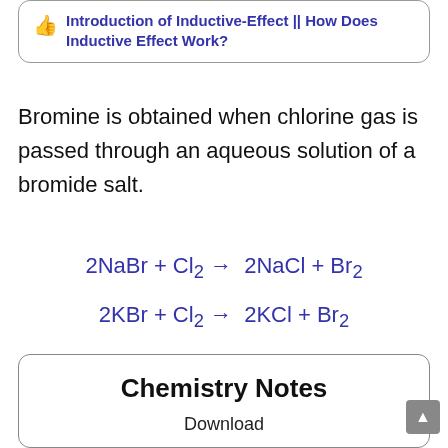Introduction of Inductive-Effect || How Does Inductive Effect Work?
Bromine is obtained when chlorine gas is passed through an aqueous solution of a bromide salt.
Chemistry Notes
Download